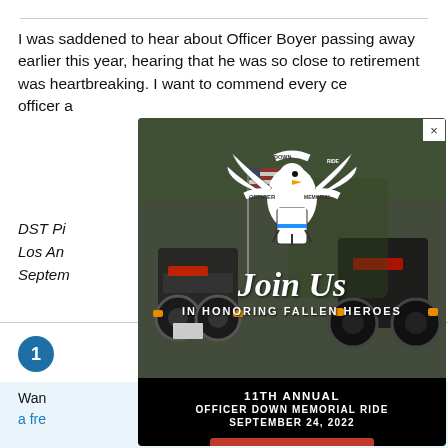I was saddened to hear about Officer Boyer passing away earlier this year, hearing that he was so close to retirement was heartbreaking. I want to commend every police officer a...
DST Pi...
Los An...
Septem...
[Figure (screenshot): Modal popup for Officer Down Memorial Ride - 11th Annual event on September 24, 2022. Contains eagle logo, photo of motorcycles with American flags, 'Join Us In Honoring Fallen Heroes' text, and a red 'Register Now' button. Close X button in top right.]
C...
Reflections published quicker
Save a Reflection signature
View, edit or delete any Reflection you've left in the past